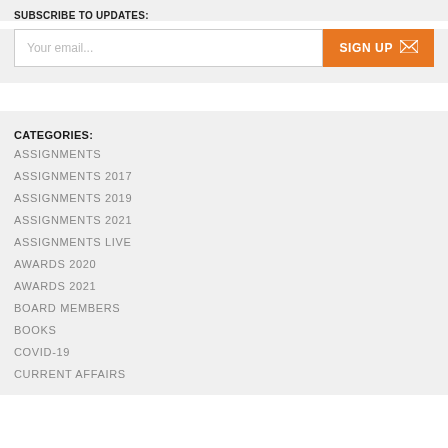SUBSCRIBE TO UPDATES:
Your email...
SIGN UP
CATEGORIES:
ASSIGNMENTS
ASSIGNMENTS 2017
ASSIGNMENTS 2019
ASSIGNMENTS 2021
ASSIGNMENTS LIVE
AWARDS 2020
AWARDS 2021
BOARD MEMBERS
BOOKS
COVID-19
CURRENT AFFAIRS